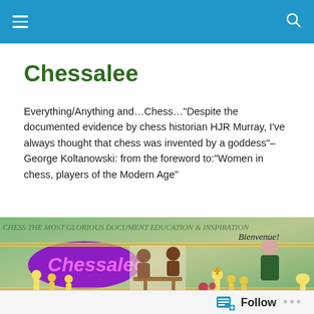Navigation bar with hamburger menu and search icon
Chessalee
Everything/Anything and…Chess…"Despite the documented evidence by chess historian HJR Murray, I've always thought that chess was invented by a goddess"–George Koltanowski: from the foreword to:"Women in chess, players of the Modern Age"
[Figure (illustration): Chessalee website banner showing chess pieces, players, and decorative chess-themed collage with 'Chessalee' purple logo text and 'Bienvenue!' handwritten text]
TAGGED WITH OSTRICH POTJIE